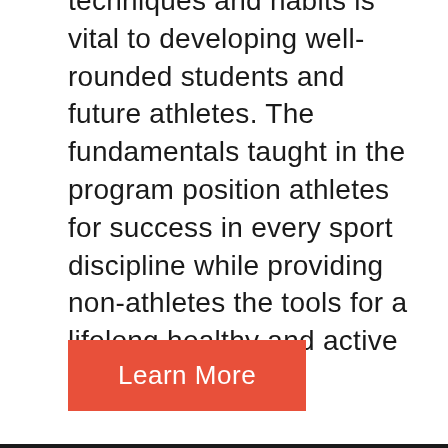techniques and habits is vital to developing well-rounded students and future athletes. The fundamentals taught in the program position athletes for success in every sport discipline while providing non-athletes the tools for a lifelong healthy and active lifestyle.
Learn More